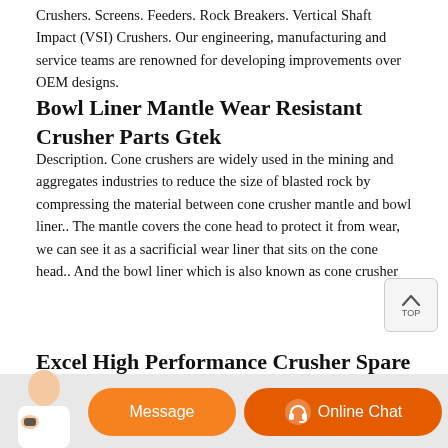Crushers. Screens. Feeders. Rock Breakers. Vertical Shaft Impact (VSI) Crushers. Our engineering, manufacturing and service teams are renowned for developing improvements over OEM designs.
Bowl Liner Mantle Wear Resistant Crusher Parts Gtek
Description. Cone crushers are widely used in the mining and aggregates industries to reduce the size of blasted rock by compressing the material between cone crusher mantle and bowl liner.. The mantle covers the cone head to protect it from wear, we can see it as a sacrificial wear liner that sits on the cone head.. And the bowl liner which is also known as cone crusher
Excel High Performance Crusher Spare Parts
Excel is a full-line provider of replacement parts for extraction and comminution equipment, ensuring productivity for mining and aggregate operations worldwide. As demands for productivity in mining and aggregates operations rise, operators need a reliable source for critical
[Figure (other): Bottom chat bar with customer service representative figure, Message button (orange), and Online Chat button (orange) at the bottom of the page]